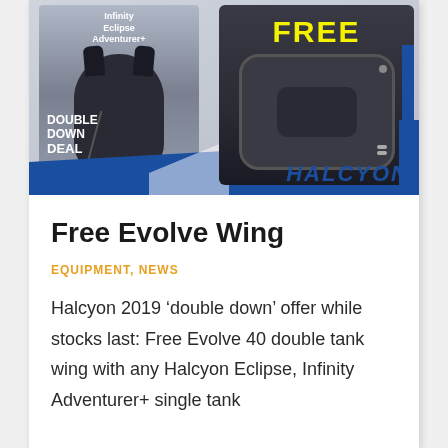[Figure (photo): Halcyon 'Double Down Deal' promotional image showing two diving products: a black diving harness/BCD labeled 'Infinity Eclipse Adventurer+' on the left, and a large black Evolve wing with 'FREE' in yellow text on the right, with a blue diagonal stripe at the bottom and Halcyon logo]
Free Evolve Wing
EQUIPMENT, NEWS
Halcyon 2019 ‘double down’ offer while stocks last: Free Evolve 40 double tank wing with any Halcyon Eclipse, Infinity Adventurer+ single tank